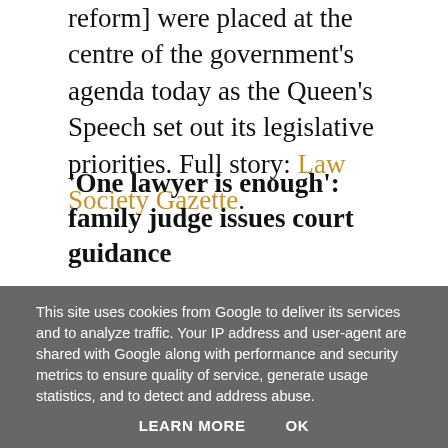reform] were placed at the centre of the government's agenda today as the Queen's Speech set out its legislative priorities. Full story: Law Society Gazette.
'One lawyer is enough': family judge issues court guidance
Solicitors with cases being heard at Central Family Court have been told they do not always have to turn up with their barristers. Full story: Law Society Gazette.
SHARE
This site uses cookies from Google to deliver its services and to analyze traffic. Your IP address and user-agent are shared with Google along with performance and security metrics to ensure quality of service, generate usage statistics, and to detect and address abuse.
LEARN MORE    OK